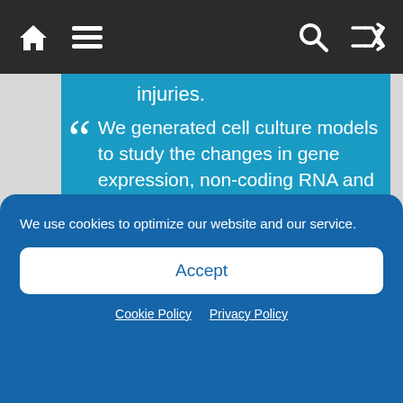Navigation bar with home, menu, search, and shuffle icons
injuries.
We generated cell culture models to study the changes in gene expression, non-coding RNA and protein levels associated with brain HI cases.
What we found was that COX5a activity was remarkably reduced in the oxygen deprived models and adding the enzyme helped prevent
We use cookies to optimize our website and our service.
Accept
Cookie Policy   Privacy Policy